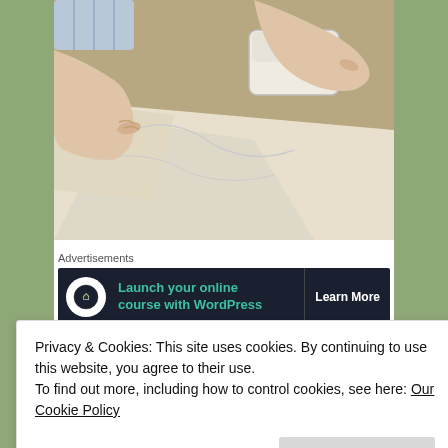[Figure (photo): Child's hands pressing on white fabric/sheet, with a small white container/box visible in the background on a wooden floor]
Advertisements
[Figure (infographic): Advertisement banner: dark background with tree/person icon, teal text 'Launch your online course with WordPress', and 'Learn More' button]
Privacy & Cookies: This site uses cookies. By continuing to use this website, you agree to their use.
To find out more, including how to control cookies, see here: Our Cookie Policy